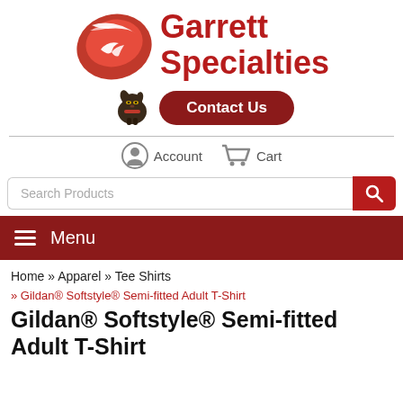[Figure (logo): Garrett Specialties logo with red swoosh/eagle graphic and bold red text]
[Figure (photo): Small dachshund dog image next to Contact Us button]
Contact Us
Account   Cart
Search Products
Menu
Home » Apparel » Tee Shirts
» Gildan® Softstyle® Semi-fitted Adult T-Shirt
Gildan® Softstyle® Semi-fitted Adult T-Shirt